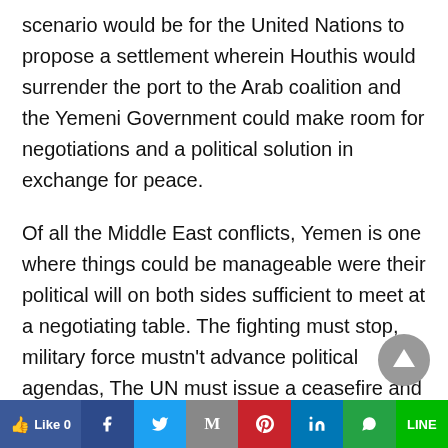scenario would be for the United Nations to propose a settlement wherein Houthis would surrender the port to the Arab coalition and the Yemeni Government could make room for negotiations and a political solution in exchange for peace.
Of all the Middle East conflicts, Yemen is one where things could be manageable were their political will on both sides sufficient to meet at a negotiating table. The fighting must stop, military force mustn't advance political agendas, The UN must issue a ceasefire and humanitarian assistance like food, shelter, and medicine must